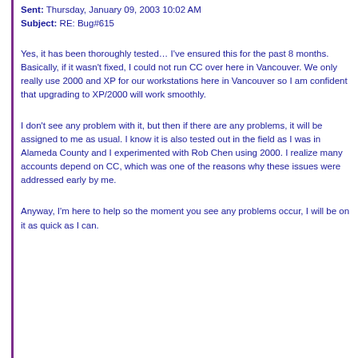Sent: Thursday, January 09, 2003 10:02 AM
Subject: RE: Bug#615
Yes, it has been thoroughly tested… I've ensured this for the past 8 months.  Basically, if it wasn't fixed, I could not run CC over here in Vancouver.  We only really use 2000 and XP for our workstations here in Vancouver so I am confident that upgrading to XP/2000 will work smoothly.
I don't see any problem with it, but then if there are any problems, it will be assigned to me as usual.  I know it is also tested out in the field as I was in Alameda County and I experimented with Rob Chen using 2000.  I realize many accounts depend on CC, which was one of the reasons why these issues were addressed early by me.
Anyway, I'm here to help so the moment you see any problems occur, I will be on it as quick as I can.